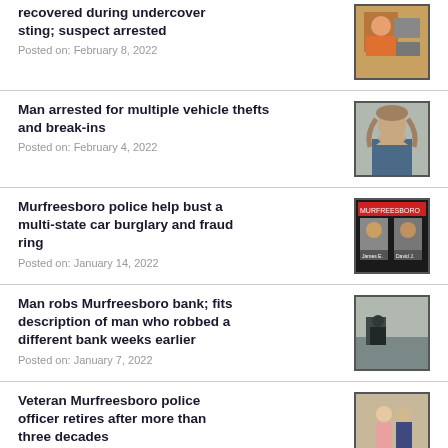recovered during undercover sting; suspect arrested
Posted on: February 8, 2022
[Figure (photo): Mugshot or evidence photo related to undercover sting arrest]
Man arrested for multiple vehicle thefts and break-ins
Posted on: February 4, 2022
[Figure (photo): Mugshot of man arrested for vehicle thefts and break-ins]
Murfreesboro police help bust a multi-state car burglary and fraud ring
Posted on: January 14, 2022
[Figure (photo): Screenshot showing suspects in multi-state car burglary and fraud ring bust]
Man robs Murfreesboro bank; fits description of man who robbed a different bank weeks earlier
Posted on: January 7, 2022
[Figure (photo): Surveillance image of man robbing Murfreesboro bank]
Veteran Murfreesboro police officer retires after more than three decades